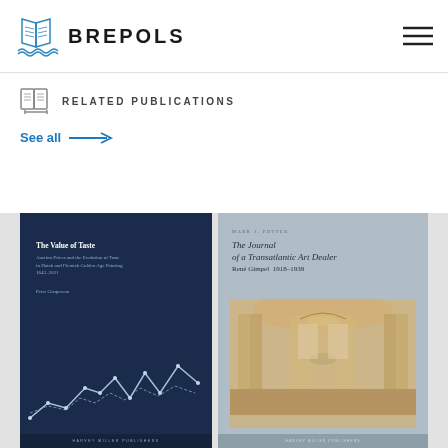[Figure (logo): Brepols publisher logo with open book icon and BREPOLS text]
[Figure (other): Hamburger menu icon (three horizontal lines)]
RELATED PUBLICATIONS
See all →
[Figure (illustration): Book cover: The Value of Taste – Auction Prices and the Evolution of Taste in Dutch and Flemish Golden Age Painting 1642–2021 by Peter Genpereau. Dark navy cover with white line chart.]
[Figure (illustration): Book cover: The Journal of a Transatlantic Art Dealer – René Gimpel 1918–1939. Gray cover with interior architectural painting/watercolor.]